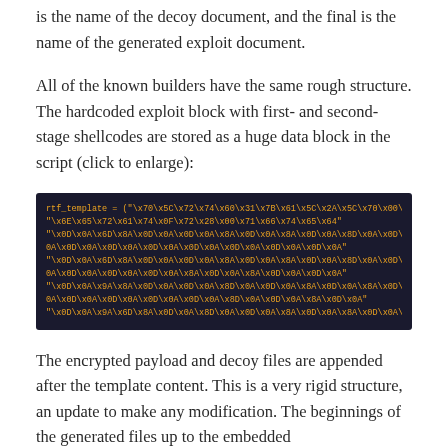is the name of the decoy document, and the final is the name of the generated exploit document.
All of the known builders have the same rough structure. The hardcoded exploit block with first- and second-stage shellcodes are stored as a huge data block in the script (click to enlarge):
[Figure (screenshot): Dark background code block showing rtf_template variable assignment with hex-encoded shellcode data in orange monospace text on dark navy background.]
The encrypted payload and decoy files are appended after the template content. This is a very rigid structure, an update to make any modification. The beginnings of the generated files up to the embedded